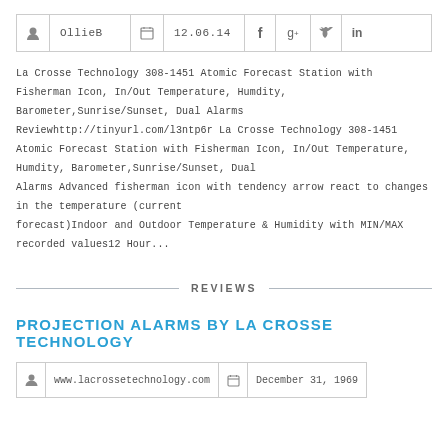|  | OllieB |  | 12.06.14 | f | g+ | bird | in |
| --- | --- | --- | --- | --- | --- | --- | --- |
La Crosse Technology 308-1451 Atomic Forecast Station with Fisherman Icon, In/Out Temperature, Humdity, Barometer,Sunrise/Sunset, Dual Alarms Reviewhttp://tinyurl.com/l3ntp6r La Crosse Technology 308-1451 Atomic Forecast Station with Fisherman Icon, In/Out Temperature, Humdity, Barometer,Sunrise/Sunset, Dual Alarms Advanced fisherman icon with tendency arrow react to changes in the temperature (current forecast)Indoor and Outdoor Temperature & Humidity with MIN/MAX recorded values12 Hour...
REVIEWS
PROJECTION ALARMS BY LA CROSSE TECHNOLOGY
|  | www.lacrossetechnology.com |  | December 31, 1969 |
| --- | --- | --- | --- |